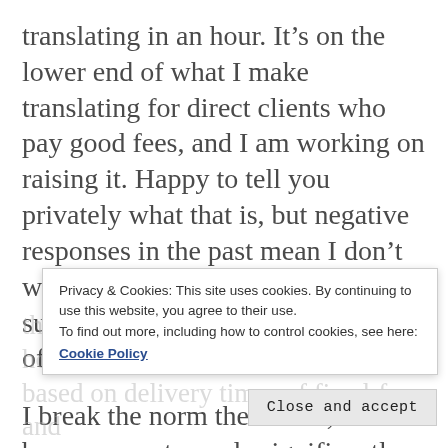translating in an hour. It’s on the lower end of what I make translating for direct clients who pay good fees, and I am working on raising it. Happy to tell you privately what that is, but negative responses in the past mean I don’t want to write it here, and I’m not sure it’s relevant to the discussion of principles, anyway.
I break the norm there a bit, because most people significantly underprice themselves on per-hour projects. I d[obscured] a[obscured] i[obscured] v[obscured] a[obscured] themselves how much I make in an hour based on delivery times of fixed-fee and
Privacy & Cookies: This site uses cookies. By continuing to use this website, you agree to their use.
To find out more, including how to control cookies, see here:
Cookie Policy
Close and accept